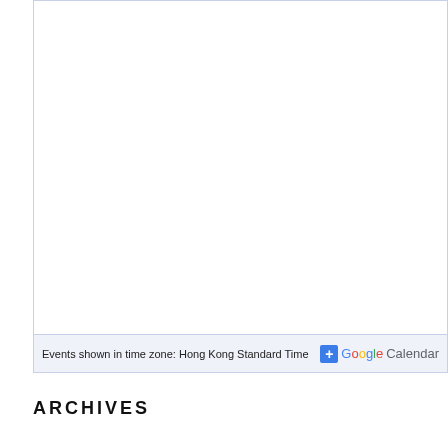[Figure (screenshot): Embedded Google Calendar widget showing a mostly blank/white calendar area with a light blue-gray border. The bottom strip shows 'Events shown in time zone: Hong Kong Standard Time' and a '+ Google Calendar' button.]
Events shown in time zone: Hong Kong Standard Time
ARCHIVES